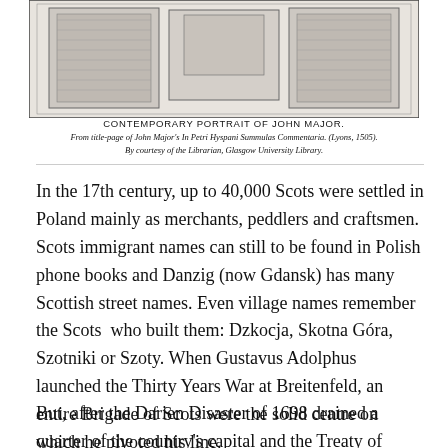[Figure (illustration): Contemporary portrait of John Major, a woodcut illustration showing a figure seated, from the title-page of John Major's In Petri Hyspani Summulas Commentaria (Lyons, 1505)]
CONTEMPORARY PORTRAIT OF JOHN MAJOR.
From title-page of John Major's In Petri Hyspani Summulas Commentaria. (Lyons, 1505).
By courtesy of the Librarian, Glasgow University Library.
In the 17th century, up to 40,000 Scots were settled in Poland mainly as merchants, peddlers and craftsmen. Scots immigrant names can still to be found in Polish phone books and Danzig (now Gdansk) has many Scottish street names. Even village names remember the Scots  who built them: Dzkocja, Skotna Góra, Szotniki or Szoty. When Gustavus Adolphus launched the Thirty Years War at Breitenfeld, an entire Brigade of Scots were the solid centre on which he pivoted his line.
But, after the Darien Disaster of 1698 drained a quarter of the country's capital and the Treaty of Union in 1707